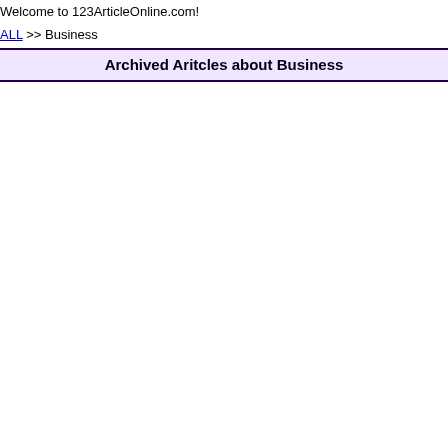Welcome to 123ArticleOnline.com!
ALL >> Business
Archived Aritcles about Business